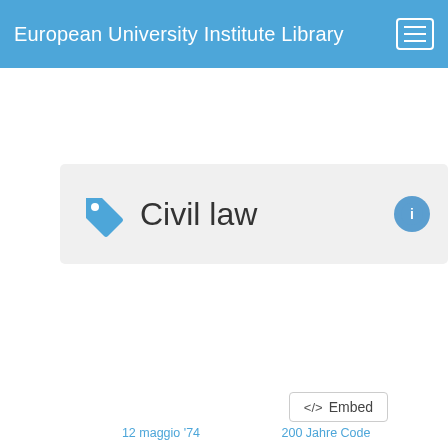European University Institute Library
Civil law
</>  Embed
A sample of Items that are about the Topic  Civil law
[Figure (screenshot): Two book item cards with book icons and a document badge, partially showing a third book on the left. Navigation arrows on both sides. Bottom labels read '12 maggio '74' and '200 Jahre Code']